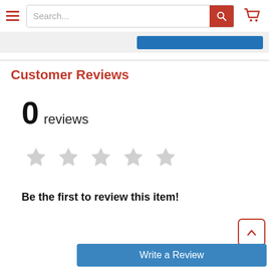[Figure (screenshot): Navigation header with hamburger menu icon, search bar with placeholder 'Search...', red search button, and red shopping cart icon]
[Figure (other): Partially visible blue button strip in light gray background area]
Customer Reviews
0 reviews
[Figure (other): Five empty/unfilled gray star icons representing zero rating]
Be the first to review this item!
[Figure (other): Back to top button with upward chevron arrow, red border, white background]
Write a Review